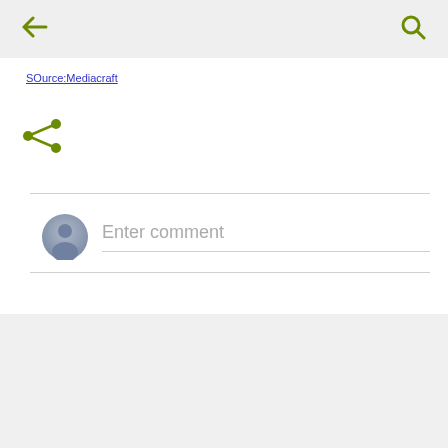← back, search icon
SOurce:Mediacraft
[Figure (other): Share icon (green network/share symbol)]
Enter comment